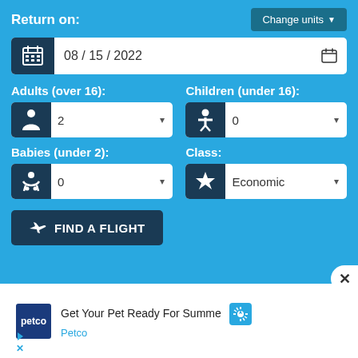Return on:
Change units
08/15/2022
Adults (over 16):
Children (under 16):
2
0
Babies (under 2):
Class:
0
Economic
FIND A FLIGHT
[Figure (screenshot): Petco advertisement: Get Your Pet Ready For Summe - Petco]
Get Your Pet Ready For Summe
Petco